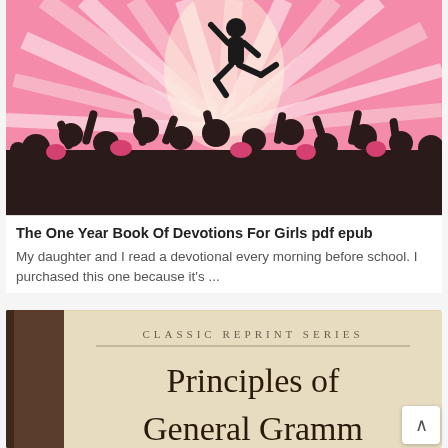[Figure (illustration): Colorful illustration of dancing silhouettes on a pink sunburst background, with one figure jumping high in the center.]
The One Year Book Of Devotions For Girls pdf epub
My daughter and I read a devotional every morning before school. I purchased this one because it's ...
[Figure (photo): Book cover showing 'CLASSIC REPRINT SERIES' at top and 'PRINCIPLES OF GENERAL GRAMMAR' text on a beige/tan background with a dark spine on the left.]